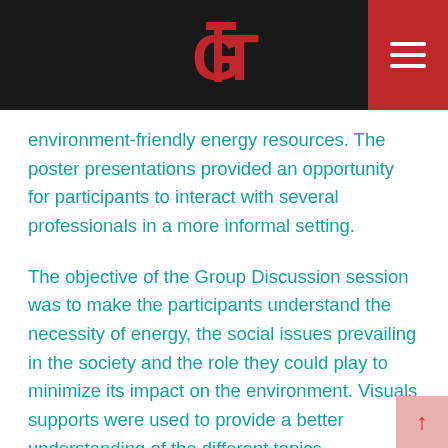GT logo and navigation header
environment-friendly energy resources. The poster presentations provided an opportunity for participants to interact with several professionals in a more informal setting.
The objective of the Group Discussion session was to make the participants understand the necessity of energy, the social issues prevailing in the society and the role they could play to minimize its impact on the environment. Visuals supports were used to provide a better understanding of the different topics.
The concluding session offered suggestions on how to apply the lessons learnt during the conference. At